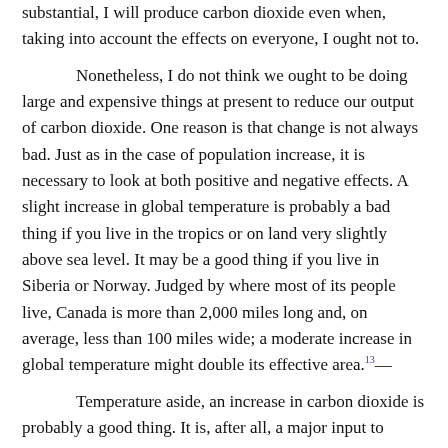substantial, I will produce carbon dioxide even when, taking into account the effects on everyone, I ought not to.
Nonetheless, I do not think we ought to be doing large and expensive things at present to reduce our output of carbon dioxide. One reason is that change is not always bad. Just as in the case of population increase, it is necessary to look at both positive and negative effects. A slight increase in global temperature is probably a bad thing if you live in the tropics or on land very slightly above sea level. It may be a good thing if you live in Siberia or Norway. Judged by where most of its people live, Canada is more than 2,000 miles long and, on average, less than 100 miles wide; a moderate increase in global temperature might double its effective area.ⁱ13
Temperature aside, an increase in carbon dioxide is probably a good thing. It is, after all, a major input to photosynthesis, so on average we would expect crops to grow